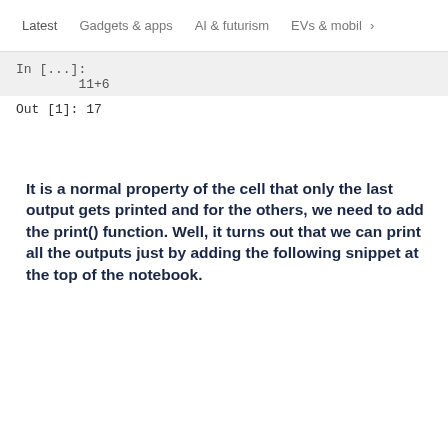Latest   Gadgets & apps   AI & futurism   EVs & mobil  >
[Figure (screenshot): Jupyter notebook code cell output showing '11+6' and 'Out [1]: 17']
It is a normal property of the cell that only the last output gets printed and for the others, we need to add the print() function. Well, it turns out that we can print all the outputs just by adding the following snippet at the top of the notebook.